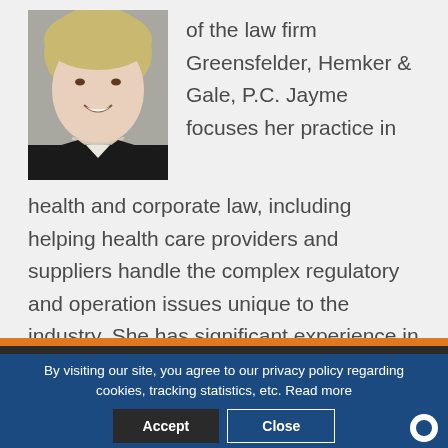[Figure (photo): Professional headshot of a woman with short blonde hair, wearing a dark blazer and pearl necklace, smiling]
of the law firm Greensfelder, Hemker & Gale, P.C. Jayme focuses her practice in health and corporate law, including helping health care providers and suppliers handle the complex regulatory and operation issues unique to the industry. She has significant experience in the area of Dental Sleep Medicine. She can be reached at jmatchinski@greensfelder.com.
By visiting our site, you agree to our privacy policy regarding cookies, tracking statistics, etc. Read more